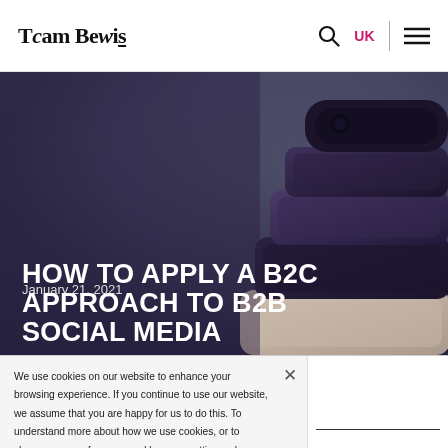Tcam Bewis
[Figure (photo): Stacked smartphones and mobile devices photographed from above, with a dark purple-grey background. The devices are arranged in a tower-like stack with varying sizes and colors including dark purple and rose gold.]
January 21, 2021
HOW TO APPLY A B2C APPROACH TO B2B SOCIAL MEDIA
We use cookies on our website to enhance your browsing experience. If you continue to use our website, we assume that you are happy for us to do this. To understand more about how we use cookies, or to change your preferences and browser settings, please see our Cookie Policy.